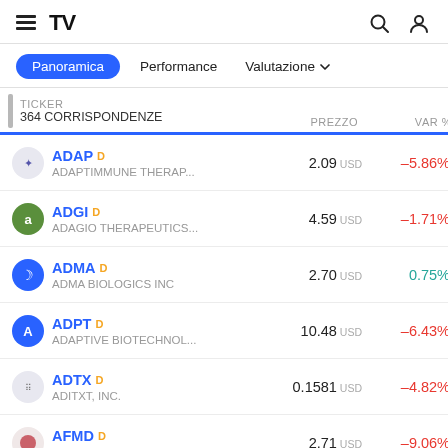TradingView header with hamburger menu, logo, search and user icons
Panoramica | Performance | Valutazione
| TICKER / 364 CORRISPONDENZE | PREZZO | VAR % |
| --- | --- | --- |
| ADAP D / ADAPTIMMUNE THERAP... | 2.09 USD | –5.86% |
| ADGI D / ADAGIO THERAPEUTICS... | 4.59 USD | –1.71% |
| ADMA D / ADMA BIOLOGICS INC | 2.70 USD | 0.75% |
| ADPT D / ADAPTIVE BIOTECHNOL... | 10.48 USD | –6.43% |
| ADTX D / ADITXT, INC. | 0.1581 USD | –4.82% |
| AFMD D / AFFIMED N.V. | 2.71 USD | –9.06% |